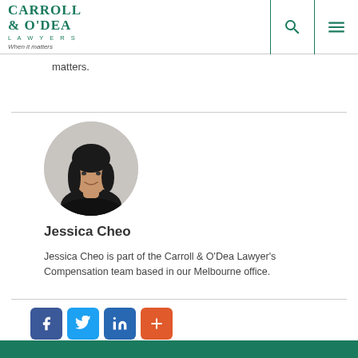Carroll & O'Dea Lawyers – When it matters
matters.
[Figure (photo): Circular profile photo of Jessica Cheo, a woman with dark hair, smiling, wearing a dark top.]
Jessica Cheo
Jessica Cheo is part of the Carroll & O'Dea Lawyer's Compensation team based in our Melbourne office.
[Figure (infographic): Social share buttons: Facebook (blue), Twitter (light blue), LinkedIn (dark blue), Plus/share (orange-red)]